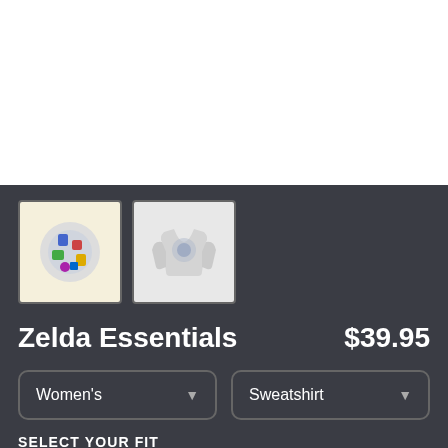[Figure (photo): Main product image area (white background, top of page)]
[Figure (photo): Thumbnail 1: design print on cream/yellow background showing Zelda Essentials artwork]
[Figure (photo): Thumbnail 2: grey sweatshirt with Zelda Essentials print on model]
Zelda Essentials
$39.95
Women's
Sweatshirt
SELECT YOUR FIT
$39.95
French Terry